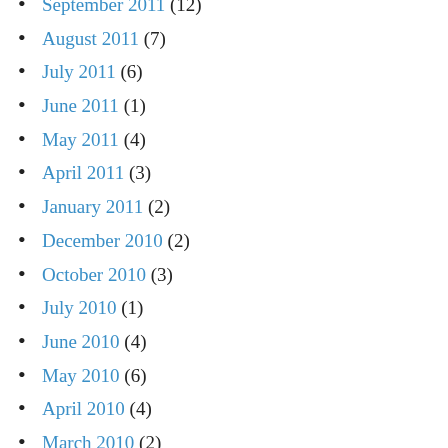September 2011 (12)
August 2011 (7)
July 2011 (6)
June 2011 (1)
May 2011 (4)
April 2011 (3)
January 2011 (2)
December 2010 (2)
October 2010 (3)
July 2010 (1)
June 2010 (4)
May 2010 (6)
April 2010 (4)
March 2010 (2)
January 2010 (3)
November 2009 (6)